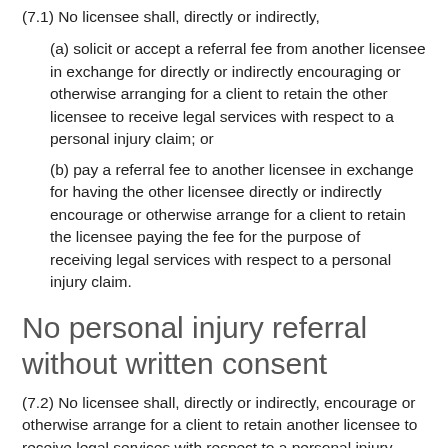(7.1)  No licensee shall, directly or indirectly,
(a)  solicit or accept a referral fee from another licensee in exchange for directly or indirectly encouraging or otherwise arranging for a client to retain the other licensee to receive legal services with respect to a personal injury claim; or
(b)  pay a referral fee to another licensee in exchange for having the other licensee directly or indirectly encourage or otherwise arrange for a client to retain the licensee paying the fee for the purpose of receiving legal services with respect to a personal injury claim.
No personal injury referral without written consent
(7.2)  No licensee shall, directly or indirectly, encourage or otherwise arrange for a client to retain another licensee to receive legal services with respect to a personal injury claim